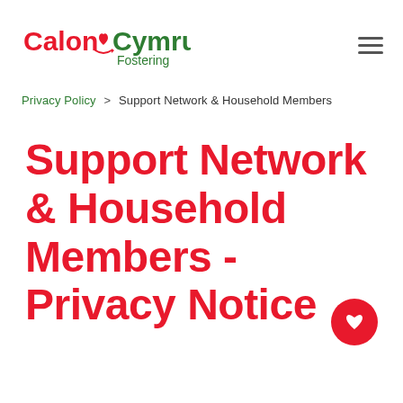[Figure (logo): Calon Cymru Fostering logo — 'Calon' in red, heart icon with arrow, 'Cymru' in green, 'Fostering' in green below]
Privacy Policy > Support Network & Household Members
Support Network & Household Members - Privacy Notice